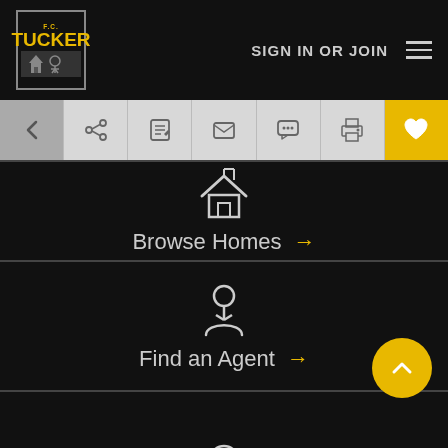[Figure (screenshot): F.C. Tucker real estate website screenshot showing navigation header with logo, SIGN IN OR JOIN link, hamburger menu, toolbar with back/share/edit/email/chat/print/favorite buttons, Browse Homes section with house icon and arrow, Find an Agent section with agent icon and arrow, and scroll-up button]
SIGN IN OR JOIN
Browse Homes →
Find an Agent →